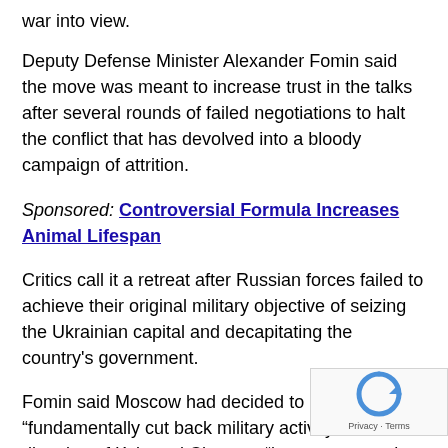war into view.
Deputy Defense Minister Alexander Fomin said the move was meant to increase trust in the talks after several rounds of failed negotiations to halt the conflict that has devolved into a bloody campaign of attrition.
Sponsored: Controversial Formula Increases Animal Lifespan
Critics call it a retreat after Russian forces failed to achieve their original military objective of seizing the Ukrainian capital and decapitating the country’s government.
Fomin said Moscow had decided to “fundamentally cut back military activity in the direction of Kyiv and Che... to “increase mutual trust and create conditions for fu...